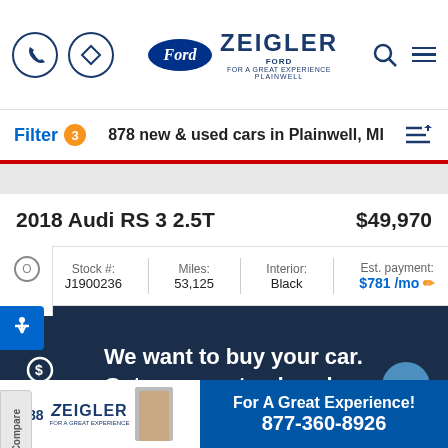[Figure (screenshot): Zeigler Ford Plainwell dealer website mobile header with phone icon, navigation icon, Ford oval logo, Zeigler Ford Plainwell logo with person photo, search icon, and hamburger menu icon]
Filter 3   878 new & used cars in Plainwell, MI
2018 Audi RS 3 2.5T   $49,970
| Stock # | Miles: | Interior: | Est. payment: |
| --- | --- | --- | --- |
| J1900236 | 53,125 | Black | $781/mo |
[Figure (infographic): Dark navy banner with car and dollar sign icon: 'We want to buy your car. Get a guaranteed cash offer.' with blue circle arrow button]
[Figure (infographic): Footer banner: Zeigler logo, person photo, eye icon with 88 count, blue section with 'For A Great Experience! 877-360-8926']